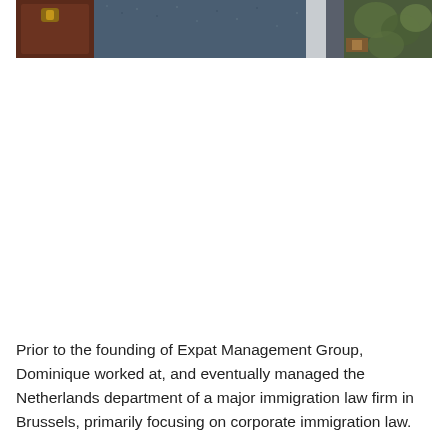[Figure (photo): Partial photo showing a person in a blue tweed jacket, with dark wood furniture and green plant visible in the background. Only the lower portion of the photo is visible.]
Prior to the founding of Expat Management Group, Dominique worked at, and eventually managed the Netherlands department of a major immigration law firm in Brussels, primarily focusing on corporate immigration law.